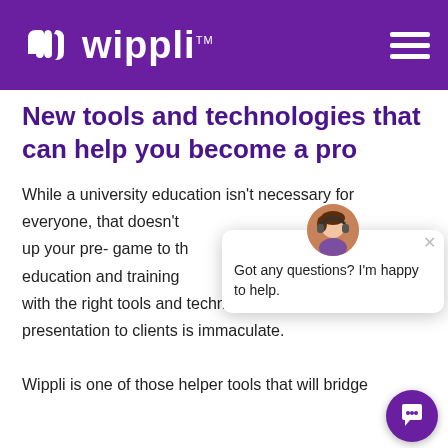Wippli™ — navigation header with hamburger menu
New tools and technologies that can help you become a pro
While a university education isn't necessary for everyone, that doesn't up your pre- game to the education and training with the right tools and technologies to ensure your presentation to clients is immaculate. Wippli is one of those helper tools that will bridge
[Figure (screenshot): Chat support popup with avatar and message 'Got any questions? I'm happy to help.' and a purple chat bubble button in the lower right corner]